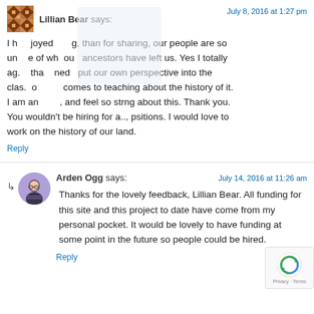Lillian Bear says:
July 8, 2016 at 1:27 pm
I have enjoyed reading, thank you for sharing, our people are so unaware of what our ancestors have left us. Yes I totally agree that we need to put our own perspective into the classroom when it comes to teaching about the history of it. I am an educator, and feel so strong about this. Thank you. You wouldn't be hiring for any positions. I would love to work on the history of our land.
Reply
Arden Ogg says:
July 14, 2016 at 11:26 am
Thanks for the lovely feedback, Lillian Bear. All funding for this site and this project to date have come from my personal pocket. It would be lovely to have funding at some point in the future so people could be hired
Reply